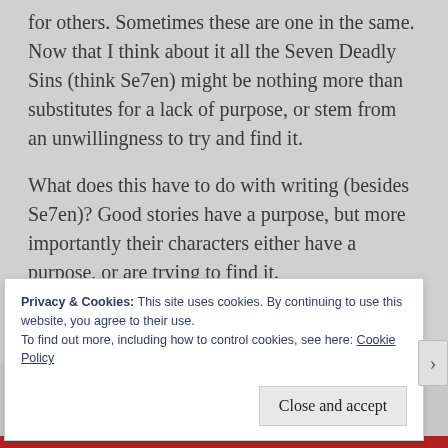for others. Sometimes these are one in the same.  Now that I think about it all the Seven Deadly Sins (think Se7en) might be nothing more than substitutes for a lack of purpose, or stem from an unwillingness to try and find it.
What does this have to do with writing (besides Se7en)? Good stories have a purpose, but more importantly their characters either have a purpose, or are trying to find it.
Writers must find their purpose as well. We cannot write about purpose without having one.
Privacy & Cookies: This site uses cookies. By continuing to use this website, you agree to their use.
To find out more, including how to control cookies, see here: Cookie Policy